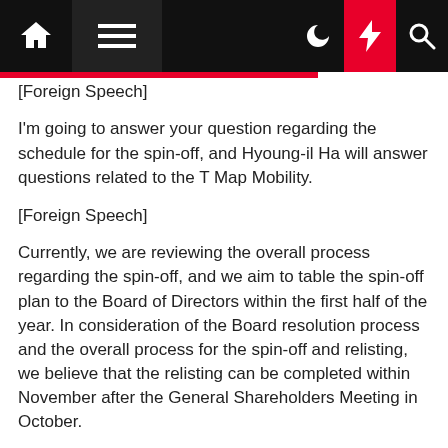[navigation bar with home, menu, moon, lightning, search icons]
[Foreign Speech]
I'm going to answer your question regarding the schedule for the spin-off, and Hyoung-il Ha will answer questions related to the T Map Mobility.
[Foreign Speech]
Currently, we are reviewing the overall process regarding the spin-off, and we aim to table the spin-off plan to the Board of Directors within the first half of the year. In consideration of the Board resolution process and the overall process for the spin-off and relisting, we believe that the relisting can be completed within November after the General Shareholders Meeting in October.
Hyoung-il Ha — Head of Corporate Center II